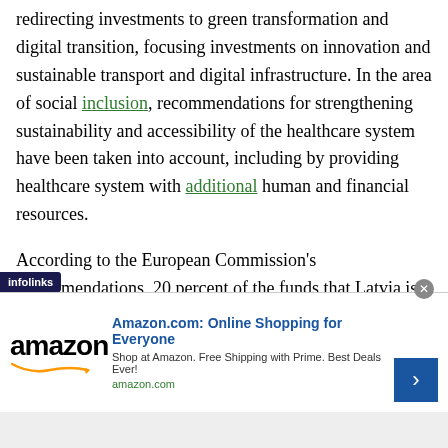redirecting investments to green transformation and digital transition, focusing investments on innovation and sustainable transport and digital infrastructure. In the area of social inclusion, recommendations for strengthening sustainability and accessibility of the healthcare system have been taken into account, including by providing healthcare system with additional human and financial resources.
According to the European Commission's recommendations, 20 percent of the funds that Latvia is to receive under the Recovery and Resilience Facility are to be invested in digitization, and 37 percent - in achieving climate goals. EUR 330 million will be allocated
[Figure (other): Advertisement banner: Amazon.com: Online Shopping for Everyone. Infolinks badge visible at lower left. Close button (x) at upper right of ad.]